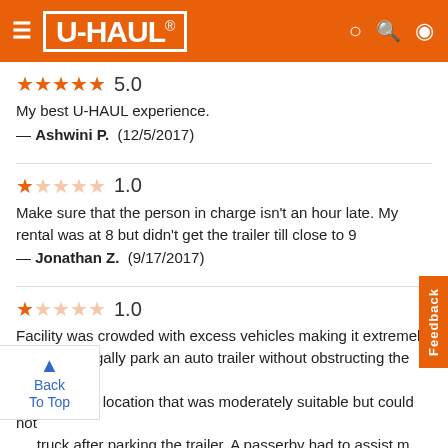U-HAUL
★★★★★ 5.0
My best U-HAUL experience.
— Ashwini P.  (12/5/2017)
★☆☆☆☆ 1.0
Make sure that the person in charge isn't an hour late. My rental was at 8 but didn't get the trailer till close to 9
— Jonathan Z.  (9/17/2017)
★☆☆☆☆ 1.0
Facility was crowded with excess vehicles making it extremely difficult to legally park an auto trailer without obstructing the parking lot. I found a location that was moderately suitable but could not truck after parking the trailer. A passerby had to assist me moving the trailer as it was impossible to move myself. Do not do trailer dropoffs at this location until there is a clear area created for dropoffs.